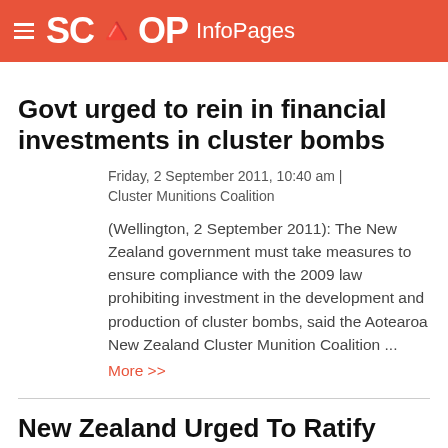SCOOP InfoPages
Govt urged to rein in financial investments in cluster bombs
Friday, 2 September 2011, 10:40 am | Cluster Munitions Coalition
(Wellington, 2 September 2011): The New Zealand government must take measures to ensure compliance with the 2009 law prohibiting investment in the development and production of cluster bombs, said the Aotearoa New Zealand Cluster Munition Coalition ... More >>
New Zealand Urged To Ratify Cluster